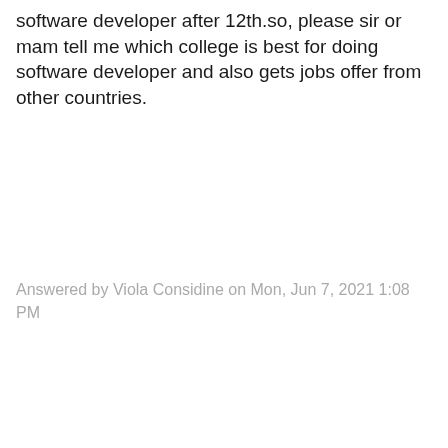software developer after 12th.so, please sir or mam tell me which college is best for doing software developer and also gets jobs offer from other countries.
Answered by Viola Considine on Mon, Jun 7, 2021 1:08 PM